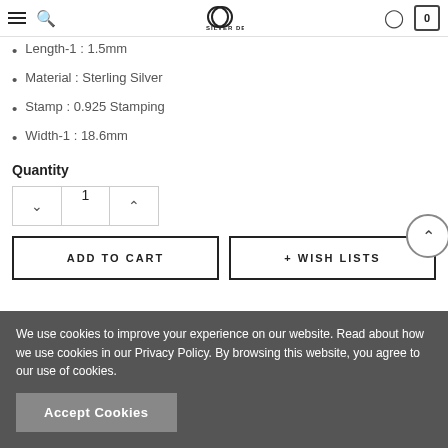Silver Depot navigation header with hamburger menu, search, logo, user icon, and cart (0)
Length-1 : 1.5mm
Material : Sterling Silver
Stamp : 0.925 Stamping
Width-1 : 18.6mm
Quantity
1
ADD TO CART
+ WISH LISTS
We use cookies to improve your experience on our website. Read about how we use cookies in our Privacy Policy. By browsing this website, you agree to our use of cookies.
Accept Cookies